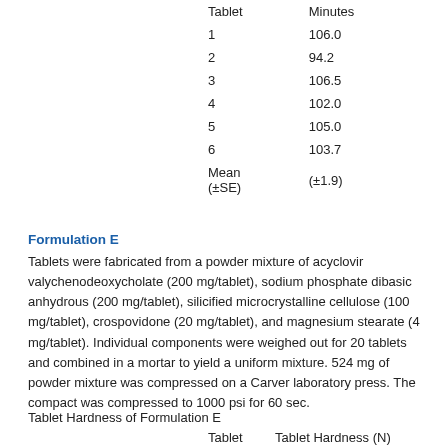| Tablet | Minutes |
| --- | --- |
| 1 | 106.0 |
| 2 | 94.2 |
| 3 | 106.5 |
| 4 | 102.0 |
| 5 | 105.0 |
| 6 | 103.7 |
| Mean (±SE) | (±1.9) |
Formulation E
Tablets were fabricated from a powder mixture of acyclovir valychenodeoxycholate (200 mg/tablet), sodium phosphate dibasic anhydrous (200 mg/tablet), silicified microcrystalline cellulose (100 mg/tablet), crospovidone (20 mg/tablet), and magnesium stearate (4 mg/tablet). Individual components were weighed out for 20 tablets and combined in a mortar to yield a uniform mixture. 524 mg of powder mixture was compressed on a Carver laboratory press. The compact was compressed to 1000 psi for 60 sec.
Tablet Hardness of Formulation E
| Tablet | Tablet Hardness (N) |
| --- | --- |
| 1 | 87.0 |